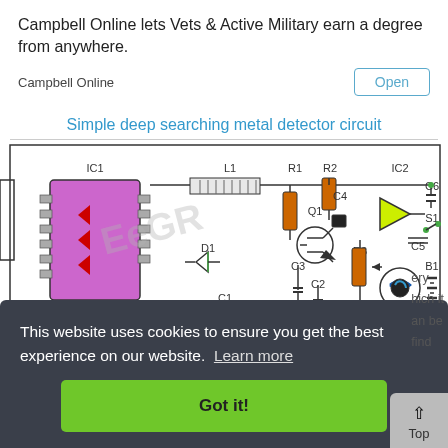Campbell Online lets Vets & Active Military earn a degree from anywhere.
Campbell Online
Open
Simple deep searching metal detector circuit
[Figure (circuit-diagram): Electronic circuit schematic for a simple deep searching metal detector, showing components including IC1, IC2, L1, R1, R2, R3, C1, C2, C3, C4, C5, C6, Q1, D1, H1, B1, S1 with connecting wires and a watermark.]
This website uses cookies to ensure you get the best experience on our website. Learn more
Got it!
ery hich it an be find
Top